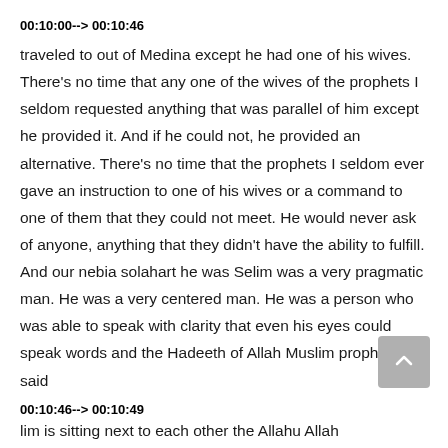00:10:00--> 00:10:46
traveled to out of Medina except he had one of his wives. There's no time that any one of the wives of the prophets I seldom requested anything that was parallel of him except he provided it. And if he could not, he provided an alternative. There's no time that the prophets I seldom ever gave an instruction to one of his wives or a command to one of them that they could not meet. He would never ask of anyone, anything that they didn't have the ability to fulfill. And our nebia solahart he was Selim was a very pragmatic man. He was a very centered man. He was a person who was able to speak with clarity that even his eyes could speak words and the Hadeeth of Allah Muslim prophets, I said
00:10:46--> 00:10:49
lim is sitting next to each other the Allahu Allah